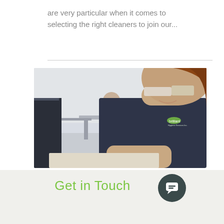are very particular when it comes to selecting the right cleaners to join our...
[Figure (photo): Two cleaners in dark navy uniforms with 'brilliant' logo. A woman in the foreground wearing safety glasses is leaning over a surface, smiling. A man stands in the background in a bright office space.]
Get in Touch